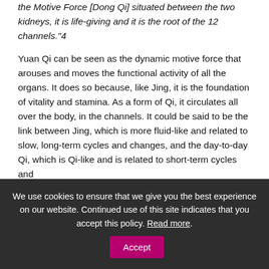the Motive Force [Dong Qi] situated between the two kidneys, it is life-giving and it is the root of the 12 channels."4
Yuan Qi can be seen as the dynamic motive force that arouses and moves the functional activity of all the organs. It does so because, like Jing, it is the foundation of vitality and stamina. As a form of Qi, it circulates all over the body, in the channels. It could be said to be the link between Jing, which is more fluid-like and related to slow, long-term cycles and changes, and the day-to-day Qi, which is Qi-like and is related to short-term cycles and
We use cookies to ensure that we give you the best experience on our website. Continued use of this site indicates that you accept this policy. Read more. Accept